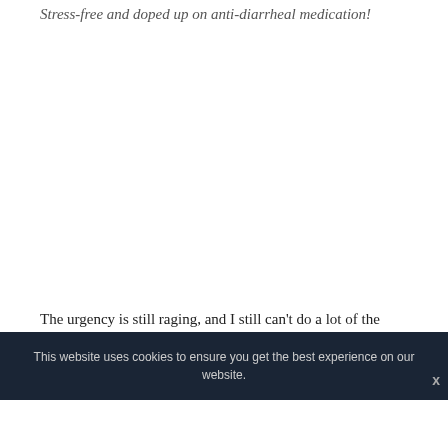Stress-free and doped up on anti-diarrheal medication!
The urgency is still raging, and I still can't do a lot of the things I used to do, but it's fun to actually be able to
This website uses cookies to ensure you get the best experience on our website.